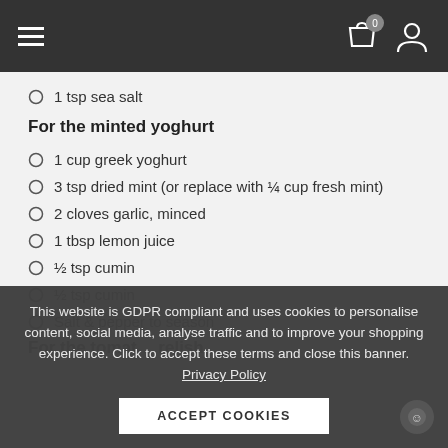Navigation bar with hamburger menu, cart (0), and user icon
1 tsp sea salt
For the minted yoghurt
1 cup greek yoghurt
3 tsp dried mint (or replace with ¼ cup fresh mint)
2 cloves garlic, minced
1 tbsp lemon juice
½ tsp cumin
½ tsp cumin (partially visible)
Salt & pepper to season
For the tomat... relish
This website is GDPR compliant and uses cookies to personalise content, social media, analyse traffic and to improve your shopping experience. Click to accept these terms and close this banner. Privacy Policy
ACCEPT COOKIES